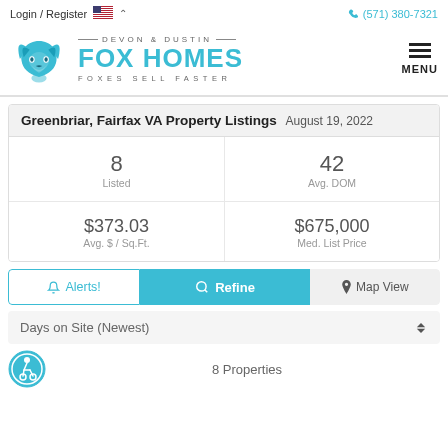Login / Register  (571) 380-7321
[Figure (logo): Fox Homes logo with teal fox icon, Devon & Dustin Fox Homes, Foxes Sell Faster tagline]
Greenbriar, Fairfax VA Property Listings  August 19, 2022
| 8 | 42 |
| Listed | Avg. DOM |
| $373.03 | $675,000 |
| Avg. $ / Sq.Ft. | Med. List Price |
Alerts!  Refine  Map View
Days on Site (Newest)
8 Properties